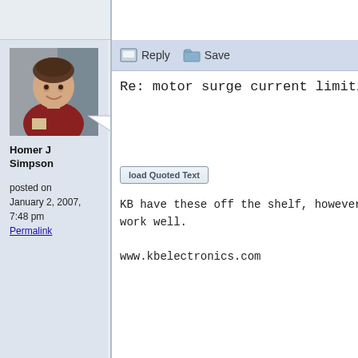[Figure (screenshot): Forum post screenshot showing user avatar photo of a woman]
Homer J Simpson
posted on January 2, 2007, 7:48 pm
Permalink
Reply  Save
Re: motor surge current limiting
Load Quoted Text
KB have these off the shelf, however work well.

www.kbelectronics.com